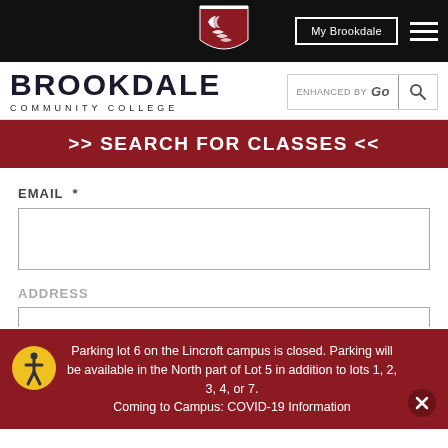[Figure (logo): Brookdale Community College shield logo and wordmark with navigation bar]
>> SEARCH FOR CLASSES <<
EMAIL *
ADDRESS
Parking lot 6 on the Lincroft campus is closed. Parking will be available in the North part of Lot 5 in addition to lots 1, 2, 3, 4, or 7.
Coming to Campus: COVID-19 Information